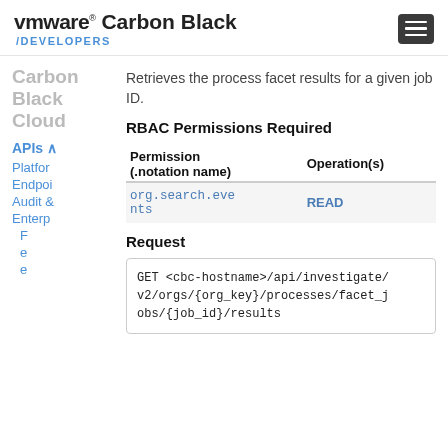VMware Carbon Black /DEVELOPERS
Retrieves the process facet results for a given job ID.
RBAC Permissions Required
| Permission (.notation name) | Operation(s) |
| --- | --- |
| org.search.events | READ |
Request
GET <cbc-hostname>/api/investigate/v2/orgs/{org_key}/processes/facet_jobs/{job_id}/results